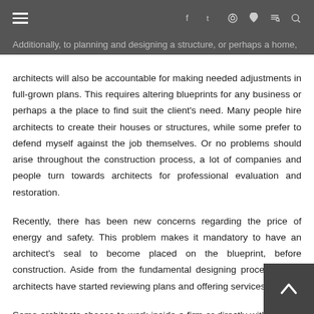Navigation bar with hamburger menu and social icons: f t p heart rss search
Additionally, to planning and designing a structure, or perhaps a home, architects will also be accountable for making needed adjustments in full-grown plans. This requires altering blueprints for any business or perhaps a the place to find suit the client's need. Many people hire architects to create their houses or structures, while some prefer to defend myself against the job themselves. Or no problems should arise throughout the construction process, a lot of companies and people turn towards architects for professional evaluation and restoration.
Recently, there has been new concerns regarding the price of energy and safety. This problem makes it mandatory to have an architect's seal to become placed on the blueprint, before construction. Aside from the fundamental designing process, most architects have started reviewing plans and offering services.
Some architects choose to work inside a firm or directly with specific homebuilders, some find great satisfaction being employed as con or freelancing. What this means is that they need to work direc